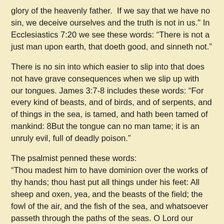glory of the heavenly father.  If we say that we have no sin, we deceive ourselves and the truth is not in us." In Ecclesiastics 7:20 we see these words: “There is not a just man upon earth, that doeth good, and sinneth not.”
There is no sin into which easier to slip into that does not have grave consequences when we slip up with our tongues. James 3:7-8 includes these words: “For every kind of beasts, and of birds, and of serpents, and of things in the sea, is tamed, and hath been tamed of mankind: 8But the tongue can no man tame; it is an unruly evil, full of deadly poison.”
The psalmist penned these words:
“Thou madest him to have dominion over the works of thy hands; thou hast put all things under his feet: All sheep and oxen, yea, and the beasts of the field; the fowl of the air, and the fish of the sea, and whatsoever passeth through the paths of the seas. O Lord our Lord, how excellent is thy name in all the earth!”
Man’s ingenuity has tamed every wild beast, but the tongue alone is beyond taming. To tame means to control, and to